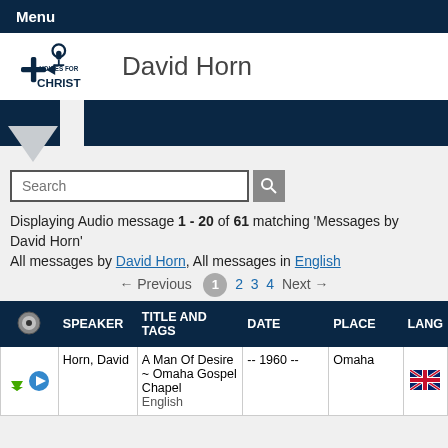Menu
David Horn
Displaying Audio message 1 - 20 of 61 matching 'Messages by David Horn'
All messages by David Horn, All messages in English
← Previous  1  2  3  4  Next →
|  | SPEAKER | TITLE AND TAGS | DATE | PLACE | LANG |
| --- | --- | --- | --- | --- | --- |
| ↓ ▶ | Horn, David | A Man Of Desire ~ Omaha Gospel Chapel English | -- 1960 -- | Omaha | 🇬🇧 |